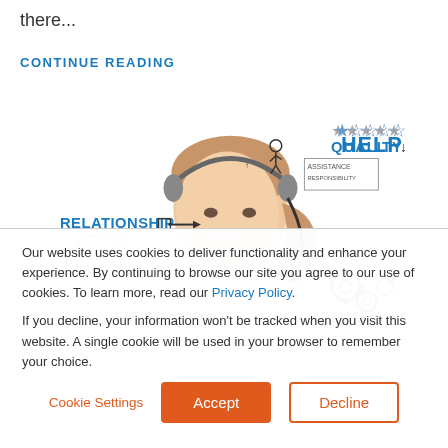there...
CONTINUE READING
[Figure (illustration): Customer service concept illustration showing a woman wearing a headset microphone, surrounded by text labels: HELP, ASSISTANCE, RESPONSIBILITY, RELATIONSHIP (with handshake icon), SATISFACTION, QUALITY (with star ratings), SUPPORT (with gears icon)]
Our website uses cookies to deliver functionality and enhance your experience. By continuing to browse our site you agree to our use of cookies. To learn more, read our Privacy Policy.

If you decline, your information won't be tracked when you visit this website. A single cookie will be used in your browser to remember your choice.
Cookie Settings
Accept
Decline